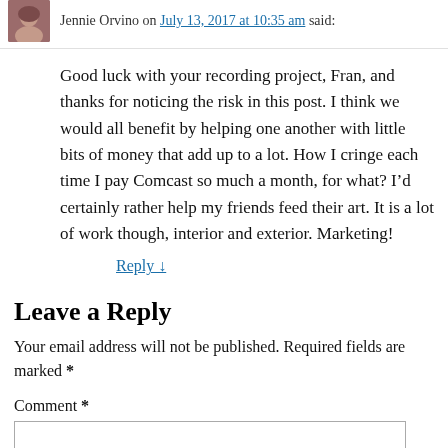Jennie Orvino on July 13, 2017 at 10:35 am said:
Good luck with your recording project, Fran, and thanks for noticing the risk in this post. I think we would all benefit by helping one another with little bits of money that add up to a lot. How I cringe each time I pay Comcast so much a month, for what? I’d certainly rather help my friends feed their art. It is a lot of work though, interior and exterior. Marketing!
Reply ↓
Leave a Reply
Your email address will not be published. Required fields are marked *
Comment *